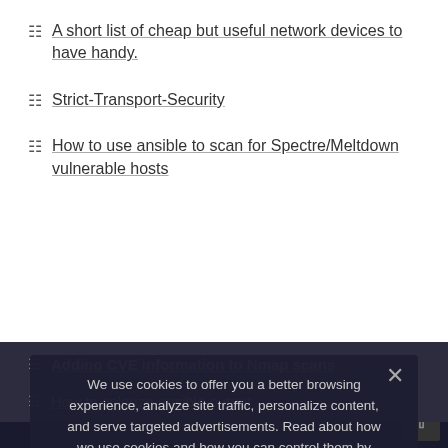A short list of cheap but useful network devices to have handy.
Strict-Transport-Security
How to use ansible to scan for Spectre/Meltdown vulnerable hosts
Adding CVE information to Nmap scans
How to colorize ansible output
Bash function for easily watching log and colorizing the output
We use cookies to offer you a better browsing experience, analyze site traffic, personalize content, and serve targeted advertisements. Read about how we use cookies and how you can control them by clicking "Privacy Preferences". If you continue to use this site, you consent to our use of cookies.
Privacy Preferences
I Agree
(c) COPYRIGHT 2022 - ALL RIGHTS RESERVED · POWERED BY SALT TECHNO